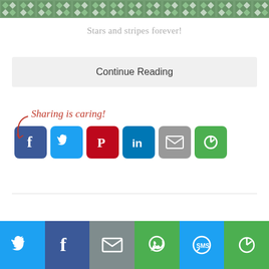[Figure (photo): Top strip showing decorative stars and stripes pattern in green, silver, and dark tiles]
Stars and stripes forever!
Continue Reading
[Figure (infographic): Sharing is caring! label with red handwritten text and curved arrow, followed by social share buttons: Facebook (blue), Twitter (light blue), Pinterest (red), LinkedIn (blue), Email (gray), SMS/share (green)]
[Figure (infographic): Bottom social sharing bar with Twitter (light blue), Facebook (dark blue), Email (gray), WhatsApp (green), SMS (light blue), Share (green) icon buttons]